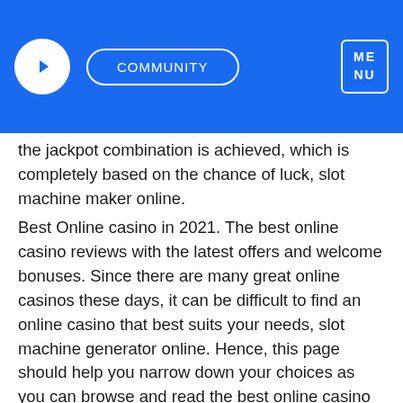COMMUNITY  ME NU
the jackpot combination is achieved, which is completely based on the chance of luck, slot machine maker online.
Best Online casino in 2021. The best online casino reviews with the latest offers and welcome bonuses. Since there are many great online casinos these days, it can be difficult to find an online casino that best suits your needs, slot machine generator online. Hence, this page should help you narrow down your choices as you can browse and read the best online casino reviews and thus decide which online casinos are ideal for you.
In order to win a perpetual jackpot you need to usually bet max on the game. Beyond that, playing slots has no strategy. Best free slots experience! → 7777+ instant play